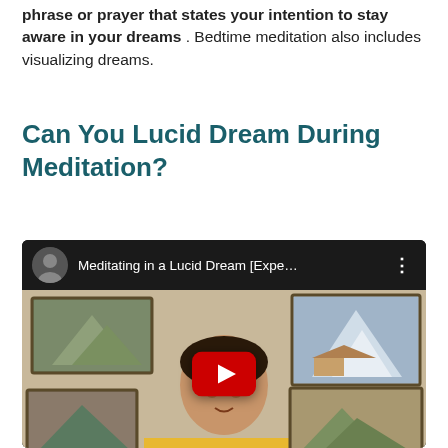phrase or prayer that states your intention to stay aware in your dreams. Bedtime meditation also includes visualizing dreams.
Can You Lucid Dream During Meditation?
[Figure (screenshot): YouTube video embed showing a man in a yellow shirt speaking, with mountain landscape paintings on the wall behind him. Video title: 'Meditating in a Lucid Dream [Expe...']